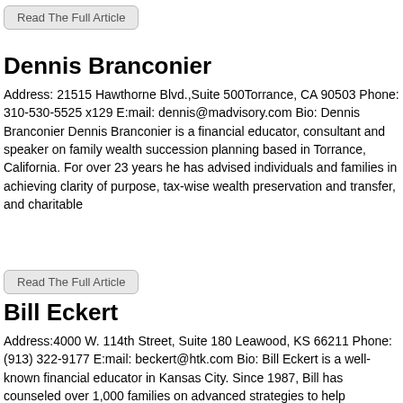Read The Full Article
Dennis Branconier
Address: 21515 Hawthorne Blvd.,Suite 500Torrance, CA 90503 Phone: 310-530-5525 x129 E:mail: dennis@madvisory.com Bio: Dennis Branconier Dennis Branconier is a financial educator, consultant and speaker on family wealth succession planning based in Torrance, California. For over 23 years he has advised individuals and families in achieving clarity of purpose, tax-wise wealth preservation and transfer, and charitable
Read The Full Article
Bill Eckert
Address:4000 W. 114th Street, Suite 180 Leawood, KS 66211 Phone: (913) 322-9177 E:mail: beckert@htk.com Bio: Bill Eckert is a well-known financial educator in Kansas City. Since 1987, Bill has counseled over 1,000 families on advanced strategies to help